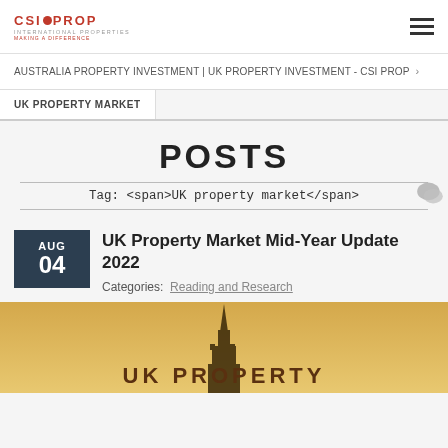CSI PROP - INTERNATIONAL PROPERTIES - MAKING A DIFFERENCE
AUSTRALIA PROPERTY INVESTMENT | UK PROPERTY INVESTMENT - CSI PROP >
UK PROPERTY MARKET
POSTS
Tag: <span>UK property market</span>
AUG 04
UK Property Market Mid-Year Update 2022
Categories:  Reading and Research
[Figure (photo): Golden-toned photo of a UK church/clock tower spire with text 'UK PROPERTY' overlaid at the bottom]